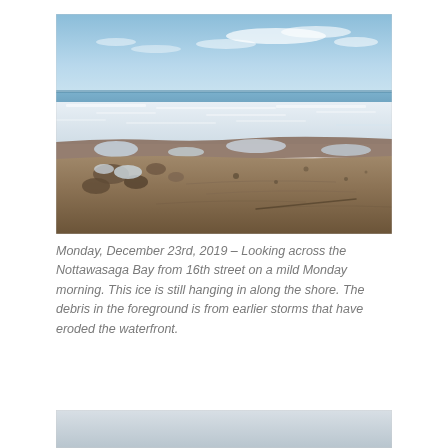[Figure (photo): Photograph looking across Nottawasaga Bay from 16th street. The foreground shows a sandy beach with debris and patches of ice. The middle ground shows a wide stretch of white ice and frozen shoreline. The background shows open water and a blue sky with light clouds.]
Monday, December 23rd, 2019 – Looking across the Nottawasaga Bay from 16th street on a mild Monday morning. This ice is still hanging in along the shore. The debris in the foreground is from earlier storms that have eroded the waterfront.
[Figure (photo): Partial view of another photograph visible at the very bottom of the page, showing a light gray/white sky or water surface.]